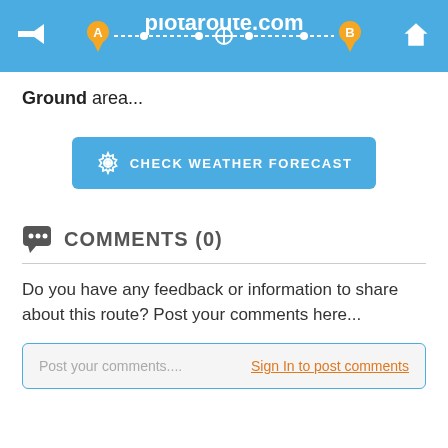plotaroute.com
Ground area...
[Figure (other): Blue button labeled CHECK WEATHER FORECAST with a gear/settings icon]
COMMENTS (0)
Do you have any feedback or information to share about this route? Post your comments here...
Post your comments.... Sign In to post comments